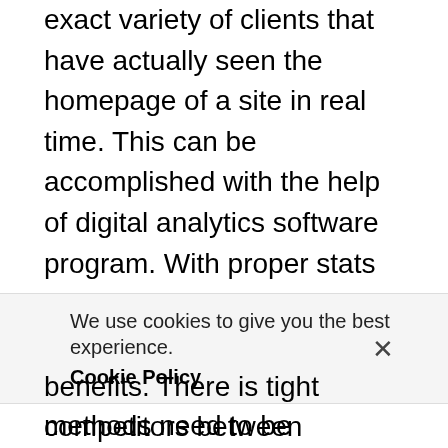exact variety of clients that have actually seen the homepage of a site in real time. This can be accomplished with the help of digital analytics software program. With proper stats as well as numbers, it can be more convenient to decide which electronic methods need to be continued as well as which ones must be quit.
Higher online search engine exposure
SEO or Search Engine Optimization is one
We use cookies to give you the best experience. Cookie Policy
benefits. There is tight competitors between